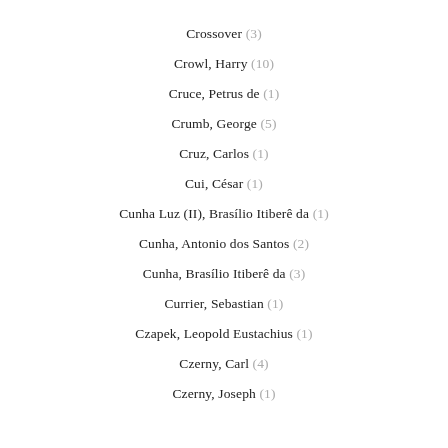Crossover (3)
Crowl, Harry (10)
Cruce, Petrus de (1)
Crumb, George (5)
Cruz, Carlos (1)
Cui, César (1)
Cunha Luz (II), Brasílio Itiberê da (1)
Cunha, Antonio dos Santos (2)
Cunha, Brasílio Itiberê da (3)
Currier, Sebastian (1)
Czapek, Leopold Eustachius (1)
Czerny, Carl (4)
Czerny, Joseph (1)